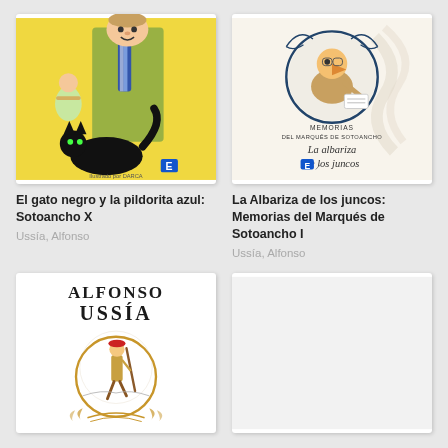[Figure (illustration): Book cover: El gato negro y la pildorita azul: Sotoancho X - colorful illustrated cover with cartoon figures, a black cat, and yellow background]
El gato negro y la pildorita azul: Sotoancho X
Ussía, Alfonso
[Figure (illustration): Book cover: La Albariza de los juncos: Memorias del Marqués de Sotoancho I - illustrated cover with bird-like figure writing, circular portrait, light background with text in calligraphic script]
La Albariza de los juncos: Memorias del Marqués de Sotoancho I
Ussía, Alfonso
[Figure (illustration): Book cover: Alfonso Ussía book - white cover with large author name ALFONSO USSÍA at top, illustrated figure of a person walking with a staff inside a golden circle, decorative elements at bottom]
[Figure (illustration): Blank or loading book cover - light gray/white rectangle]